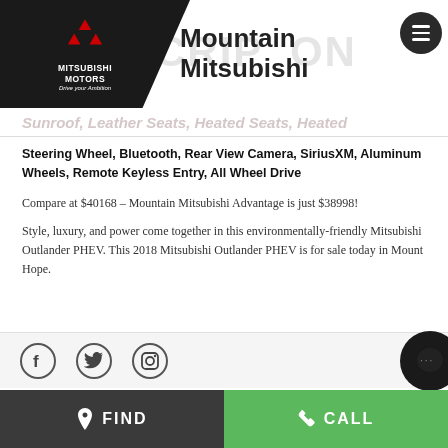[Figure (logo): Mitsubishi Motors logo with red diamond shape, white text 'MITSUBISHI MOTORS Drive your Ambition' on black background, with 'Mountain Mitsubishi' dealer name in dark text]
Sunroof, Leather Seats, Heated Seats, Heated Steering Wheel, Bluetooth, Rear View Camera, SiriusXM, Aluminum Wheels, Remote Keyless Entry, All Wheel Drive
Compare at $40168 – Mountain Mitsubishi Advantage is just $38998!
Style, luxury, and power come together in this environmentally-friendly Mitsubishi Outlander PHEV. This 2018 Mitsubishi Outlander PHEV is for sale today in Mount Hope.
[Figure (illustration): Social media icons: Facebook (f), Twitter (bird), Instagram (camera) in circular borders on light grey bar]
FIND   CALL